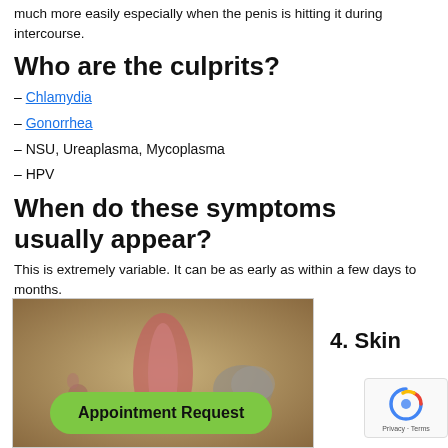much more easily especially when the penis is hitting it during intercourse.
Who are the culprits?
– Chlamydia
– Gonorrhea
– NSU, Ureaplasma, Mycoplasma
– HPV
When do these symptoms usually appear?
This is extremely variable. It can be as early as within a few days to months.
[Figure (photo): Medical photograph showing genital skin condition]
4. Skin
Appointment Request